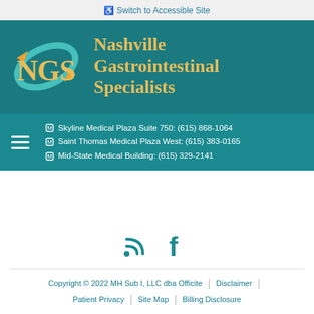Switch to Accessible Site
[Figure (logo): Nashville Gastrointestinal Specialists logo with NGS letters and teal swirl graphic on teal background, with text 'Nashville Gastrointestinal Specialists' in gold]
Skyline Medical Plaza Suite 750: (615) 868-1064
Saint Thomas Medical Plaza West: (615) 383-0165
Mid-State Medical Building: (615) 329-2141
[Figure (other): RSS feed icon and Facebook icon in teal]
Copyright © 2022 MH Sub I, LLC dba Officite | Disclaimer | Patient Privacy | Site Map | Billing Disclosure